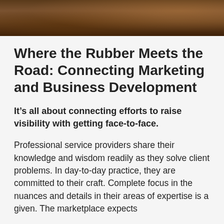[Figure (photo): Dark brown wooden surface or background, close-up texture photo strip at top of page]
Where the Rubber Meets the Road: Connecting Marketing and Business Development
It’s all about connecting efforts to raise visibility with getting face-to-face.
Professional service providers share their knowledge and wisdom readily as they solve client problems. In day-to-day practice, they are committed to their craft. Complete focus in the nuances and details in their areas of expertise is a given. The marketplace expects